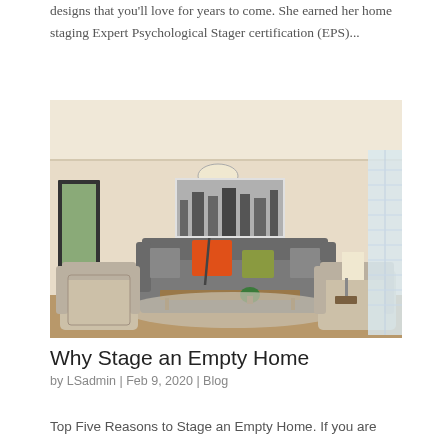designs that you'll love for years to come. She earned her home staging Expert Psychological Stager certification (EPS)...
[Figure (photo): Staged living room with two patterned armchairs in foreground, grey sofa with orange and green pillows in background, coffee table with plant, floor lamp, and black-and-white city artwork on wall]
Why Stage an Empty Home
by LSadmin | Feb 9, 2020 | Blog
Top Five Reasons to Stage an Empty Home. If you are